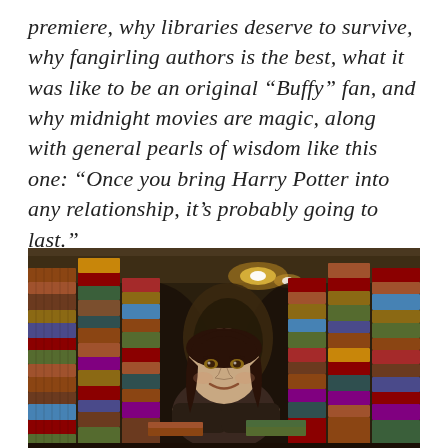premiere, why libraries deserve to survive, why fangirling authors is the best, what it was like to be an original “Buffy” fan, and why midnight movies are magic, along with general pearls of wisdom like this one: “Once you bring Harry Potter into any relationship, it’s probably going to last.”
[Figure (photo): A smiling woman with dark hair, arms crossed, leaning on a stack of books inside a library or bookstore, surrounded by towering stacks of old books on both sides, with warm overhead lighting visible in the background.]